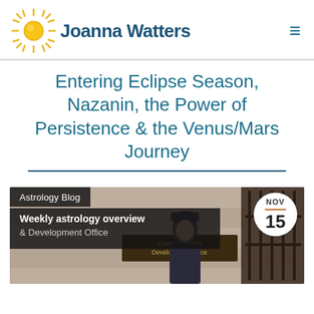[Figure (logo): Joanna Watters website header with sun logo and hamburger menu icon]
Entering Eclipse Season, Nazanin, the Power of Persistence & the Venus/Mars Journey
[Figure (photo): Photograph of a man wearing a winter hat and coat standing outside a building with a sign reading 'Commonwealth Development Office'. Overlaid with 'Astrology Blog' label, 'Weekly astrology overview' subtitle, and date badge showing NOV 15.]